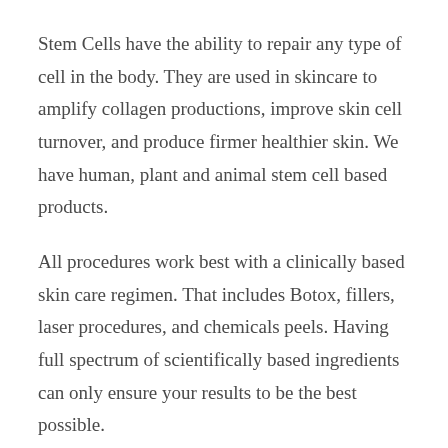Stem Cells have the ability to repair any type of cell in the body. They are used in skincare to amplify collagen productions, improve skin cell turnover, and produce firmer healthier skin. We have human, plant and animal stem cell based products.
All procedures work best with a clinically based skin care regimen. That includes Botox, fillers, laser procedures, and chemicals peels. Having full spectrum of scientifically based ingredients can only ensure your results to be the best possible.
Peptides,growth factors, and stem cells are found in a clinically and medically based...